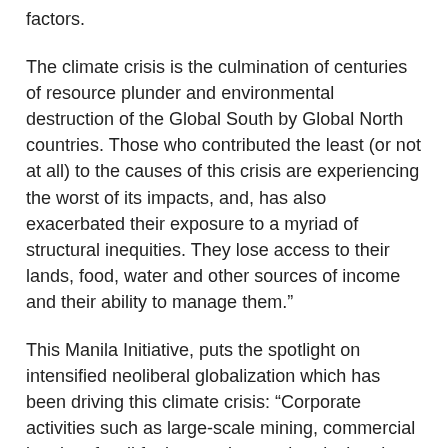factors.
The climate crisis is the culmination of centuries of resource plunder and environmental destruction of the Global South by Global North countries. Those who contributed the least (or not at all) to the causes of this crisis are experiencing the worst of its impacts, and, has also exacerbated their exposure to a myriad of structural inequities. They lose access to their lands, food, water and other sources of income and their ability to manage them.”
This Manila Initiative, puts the spotlight on intensified neoliberal globalization which has been driving this climate crisis: “Corporate activities such as large-scale mining, commercial logging, fossil fuel extraction, and agricultural plantation expansion are aggravating the causes of climate change and displacing hundreds of millions of people, primarily the most marginalized sectors of society such as indigenous peoples and rural folks. Thus, the human rights of these communities are continuously being violated, especially their right to a safe and healthy environment. The impetus to act has never been more urgent.”